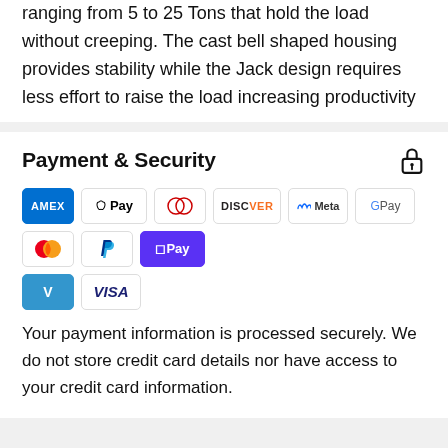ranging from 5 to 25 Tons that hold the load without creeping. The cast bell shaped housing provides stability while the Jack design requires less effort to raise the load increasing productivity
Payment & Security
[Figure (infographic): Payment method icons: American Express, Apple Pay, Diners Club, Discover, Meta Pay, Google Pay, Mastercard, PayPal, Shop Pay, Venmo, Visa]
Your payment information is processed securely. We do not store credit card details nor have access to your credit card information.